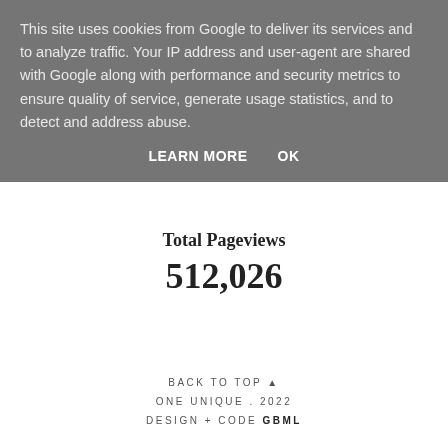This site uses cookies from Google to deliver its services and to analyze traffic. Your IP address and user-agent are shared with Google along with performance and security metrics to ensure quality of service, generate usage statistics, and to detect and address abuse.
LEARN MORE   OK
Total Pageviews
512,026
BACK TO TOP ▲
ONE UNIQUE . 2022
DESIGN + CODE GBML